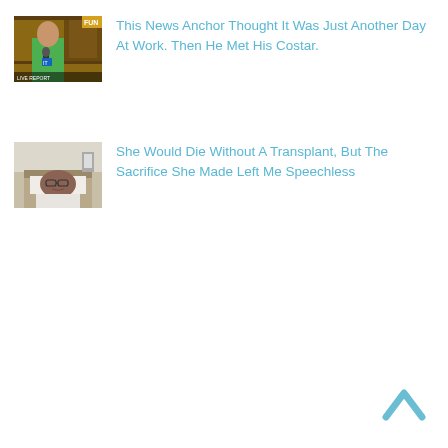[Figure (photo): Thumbnail image of a man in a green shirt holding a microphone outdoors, with a horse visible behind him. Text 'FUN' in top right corner.]
This News Anchor Thought It Was Just Another Day At Work. Then He Met His Costar.
[Figure (photo): Thumbnail image of a person lying in a hospital bed wearing glasses, viewed from above.]
She Would Die Without A Transplant, But The Sacrifice She Made Left Me Speechless